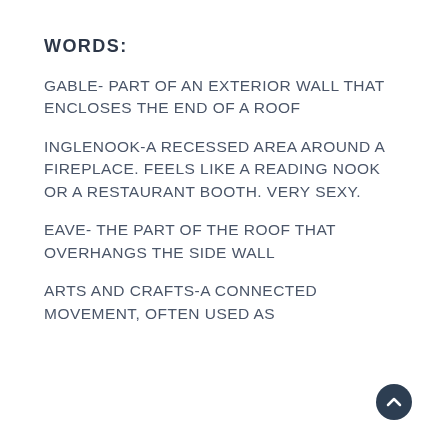WORDS:
GABLE- PART OF AN EXTERIOR WALL THAT ENCLOSES THE END OF A ROOF
INGLENOOK-A RECESSED AREA AROUND A FIREPLACE. FEELS LIKE A READING NOOK OR A RESTAURANT BOOTH. VERY SEXY.
EAVE- THE PART OF THE ROOF THAT OVERHANGS THE SIDE WALL
ARTS AND CRAFTS-A CONNECTED MOVEMENT, OFTEN USED AS